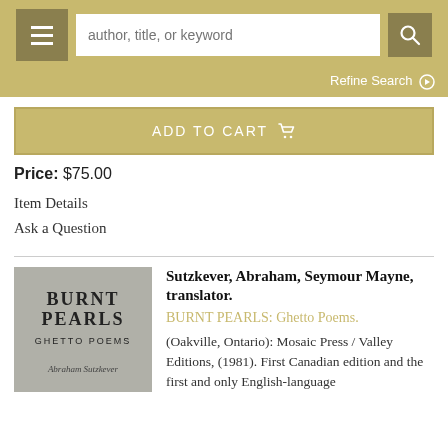author, title, or keyword
Refine Search
ADD TO CART
Price: $75.00
Item Details
Ask a Question
[Figure (photo): Book cover of BURNT PEARLS: Ghetto Poems by Abraham Sutzkever, grey cover]
Sutzkever, Abraham, Seymour Mayne, translator.
BURNT PEARLS: Ghetto Poems.
(Oakville, Ontario): Mosaic Press / Valley Editions, (1981). First Canadian edition and the first and only English-language